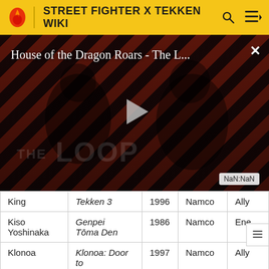STREET FIGHTER X TEKKEN WIKI
[Figure (screenshot): Video thumbnail for 'House of the Dragon Roars - The L...' with play button, diagonal red and dark stripes background, 'THE LOOP' text overlay, and NaN:NaN timestamp]
| Character | Game | Year | Publisher | Role |
| --- | --- | --- | --- | --- |
| King | Tekken 3 | 1996 | Namco | Ally |
| Kiso Yoshinaka | Genpei Tōma Den | 1986 | Namco | Ene… |
| Klonoa | Klonoa: Door to | 1997 | Namco | Ally |